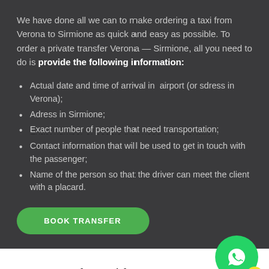We have done all we can to make ordering a taxi from Verona to Sirmione as quick and easy as possible. To order a private transfer Verona — Sirmione, all you need to do is provide the following information:
Actual date and time of arrival in airport (or sdress in Verona);
Adress in Sirmione;
Exact number of people that need transportation;
Contact information that will be used to get in touch with the passenger;
Name of the person so that the driver can meet the client with a placard.
BOOK TRANSFER
Payment for taxi from Verona to Sirmione